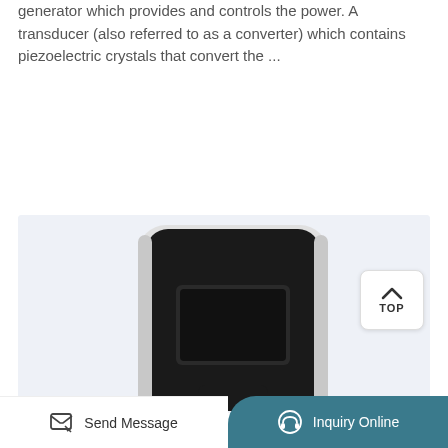generator which provides and controls the power. A transducer (also referred to as a converter) which contains piezoelectric crystals that convert the ...
Learn More
[Figure (photo): Photo of a black and white ultrasonic medical device (transducer/converter) with a rectangular LCD screen area on the front panel, shown against a light blue-grey background. A 'TOP' navigation button appears in the upper right corner of the image area.]
Send Message   Inquiry Online